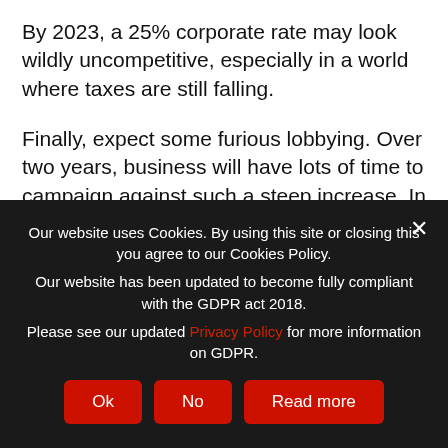By 2023, a 25% corporate rate may look wildly uncompetitive, especially in a world where taxes are still falling.
Finally, expect some furious lobbying. Over two years, business will have lots of time to campaign against such a steep increase. In the middle of a pandemic, it is hard for anyone to complain about making sacrifices. It looks bad. But as that subsides and life gets back to normal, there will be more and more protests. One or two big companies may decide they can move to Ireland (with a corporate
Our website uses Cookies. By using this site or closing this you agree to our Cookies Policy.
Our website has been updated to become fully compliant with the GDPR act 2018.
Please see our updated Privacy Policy for more information on GDPR.